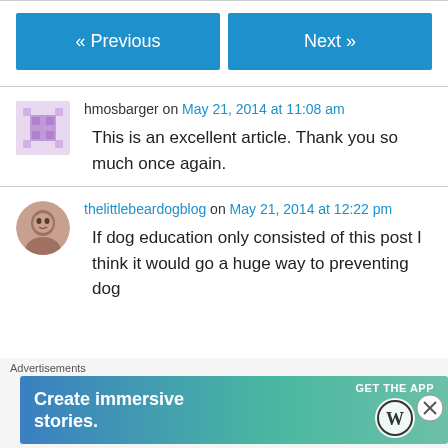« Previous | Next »
hmosbarger on May 21, 2014 at 11:08 am
This is an excellent article. Thank you so much once again.
thelittlebeardogblog on May 21, 2014 at 12:22 pm
If dog education only consisted of this post I think it would go a huge way to preventing dog
Advertisements
[Figure (infographic): WordPress 'Create immersive stories. GET THE APP' advertisement banner with WordPress logo]